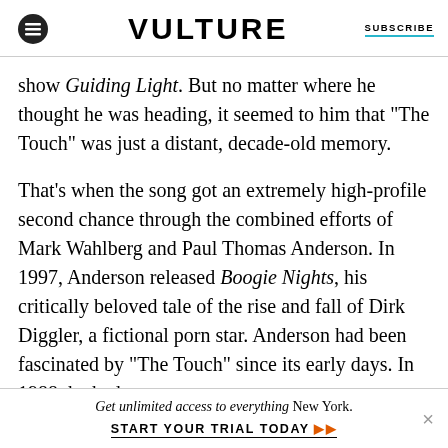VULTURE | SUBSCRIBE
show Guiding Light. But no matter where he thought he was heading, it seemed to him that “The Touch” was just a distant, decade-old memory.
That’s when the song got an extremely high-profile second chance through the combined efforts of Mark Wahlberg and Paul Thomas Anderson. In 1997, Anderson released Boogie Nights, his critically beloved tale of the rise and fall of Dirk Diggler, a fictional porn star. Anderson had been fascinated by “The Touch” since its early days. In 1988, he had
Get unlimited access to everything New York. START YOUR TRIAL TODAY »